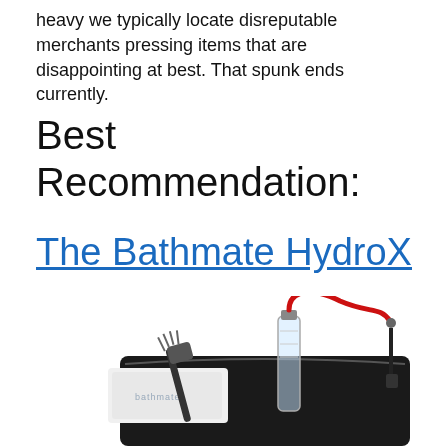heavy we typically locate disreputable merchants pressing items that are disappointing at best. That spunk ends currently.
Best Recommendation:
The Bathmate HydroX
[Figure (photo): Photo of the Bathmate HydroX product kit showing a black carrying case, a clear pump device with red tubing, a cleaning brush, and a white cloth/towel with the Bathmate logo.]